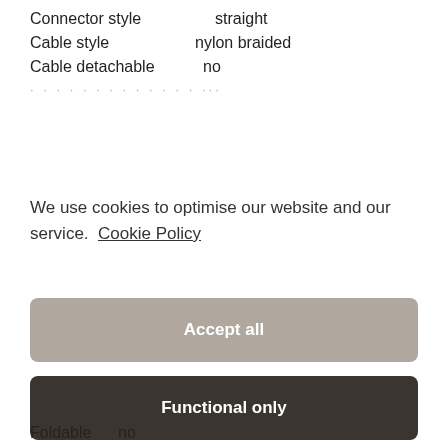Connector style     straight
Cable style     nylon braided
Cable detachable     no
We use cookies to optimise our website and our service.  Cookie Policy
Accept all
Functional only
View preferences
Foldable     no